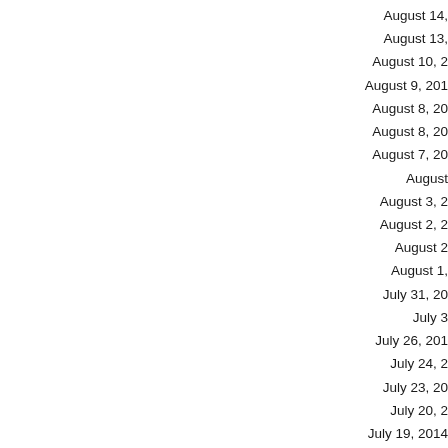August 14,
August 13,
August 10, 2
August 9, 201
August 8, 20
August 8, 20
August 7, 20
August
August 3, 2
August 2, 2
August 2
August 1,
July 31, 20
July 3
July 26, 201
July 24, 2
July 23, 20
July 20, 2
July 19, 2014
July 17, 201
July 16, 2014
July 13, 2014
July 10, 201